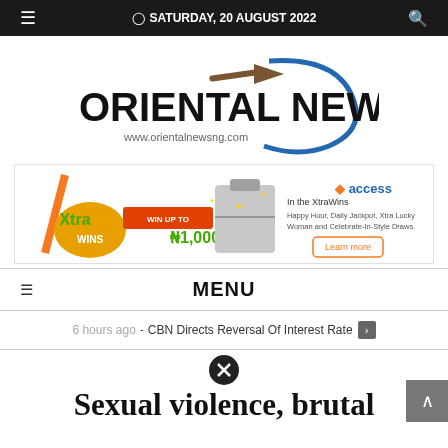SATURDAY, 20 AUGUST 2022
[Figure (logo): Oriental News logo with blue swoosh graphic and text 'ORIENTAL NEWS' and 'www.orientalnewsng.com']
[Figure (infographic): Access Bank Xtra Wins advertisement banner showing ₦1,000,000 prize promotion with briefcase of money]
MENU
6 hours ago - CBN Directs Reversal Of Interest Rate
Sexual violence, brutal